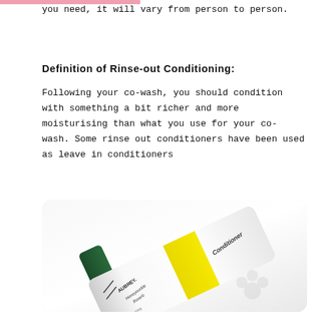you need, it will vary from person to person.
Definition of Rinse-out Conditioning:
Following your co-wash, you should condition with something a bit richer and more moisturising than what you use for your co-wash. Some rinse out conditioners have been used as leave in conditioners
[Figure (photo): A white bottle of Aubrey Honeysuckle Rose Moisturizing Conditioner with a yellow stripe, lying diagonally on a light background with a flower illustration.]